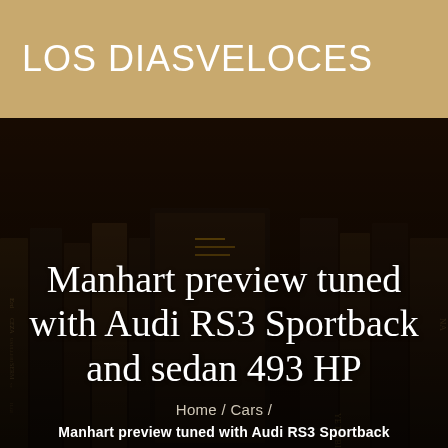LOS DIASVELOCES
[Figure (photo): Dark background with stacked books showing gold-lettered spines, used as a hero image background]
Manhart preview tuned with Audi RS3 Sportback and sedan 493 HP
Home / Cars /
Manhart preview tuned with Audi RS3 Sportback